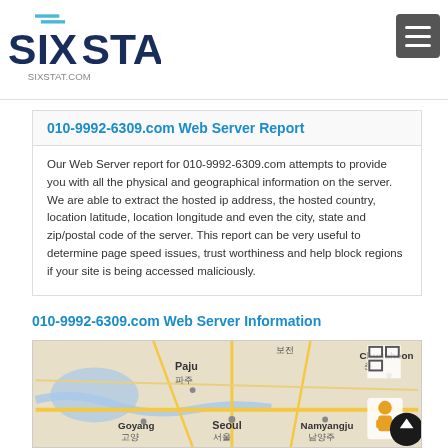SIXSTAT - sixstat.com
010-9992-6309.com Web Server Report
Our Web Server report for 010-9992-6309.com attempts to provide you with all the physical and geographical information on the server. We are able to extract the hosted ip address, the hosted country, location latitude, location longitude and even the city, state and zip/postal code of the server. This report can be very useful to determine page speed issues, trust worthiness and help block regions if your site is being accessed maliciously.
010-9992-6309.com Web Server Information
[Figure (map): Map showing Seoul, South Korea region including Paju (파주), Goyang (고양), Seoul (서울), Namyangju (남양주), Chuncheon, and other surrounding areas.]